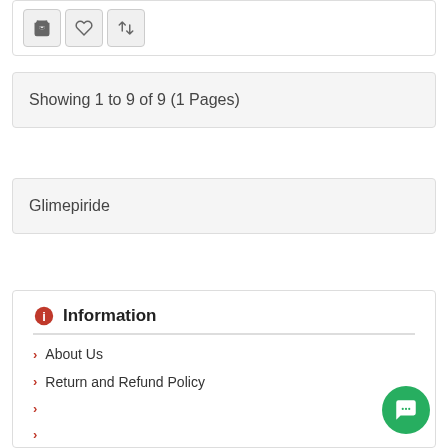[Figure (screenshot): Shopping cart icon buttons: cart, heart/wishlist, and compare arrows]
Showing 1 to 9 of 9 (1 Pages)
Glimepiride
Information
About Us
Return and Refund Policy
Delivery Information
Terms & Condition